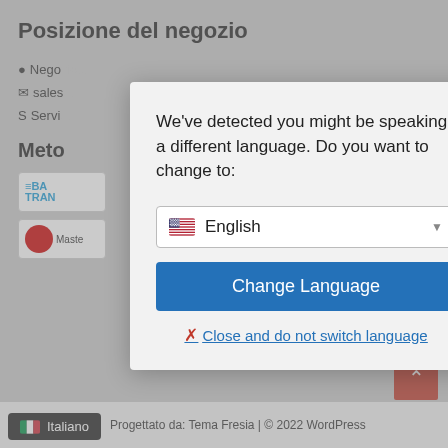Posizione del negozio
Nego...
sales...
Servi...
Meto
[Figure (screenshot): Payment method logos: BA TRAN and Mastercard]
We've detected you might be speaking a different language. Do you want to change to:
English (dropdown with US flag)
Change Language
Close and do not switch language
Progettato da: Tema Fresia | © 2022 WordPress